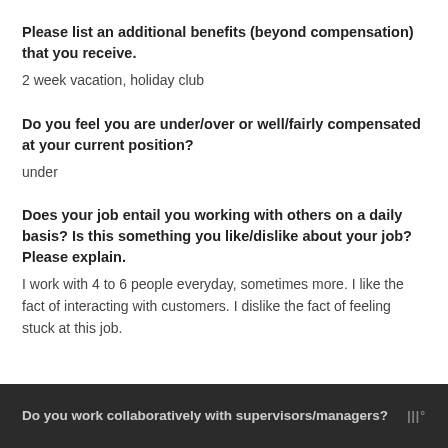Please list an additional benefits (beyond compensation) that you receive.
2 week vacation, holiday club
Do you feel you are under/over or well/fairly compensated at your current position?
under
Does your job entail you working with others on a daily basis? Is this something you like/dislike about your job? Please explain.
I work with 4 to 6 people everyday, sometimes more. I like the fact of interacting with customers. I dislike the fact of feeling stuck at this job.
Do you work collaboratively with supervisors/managers?